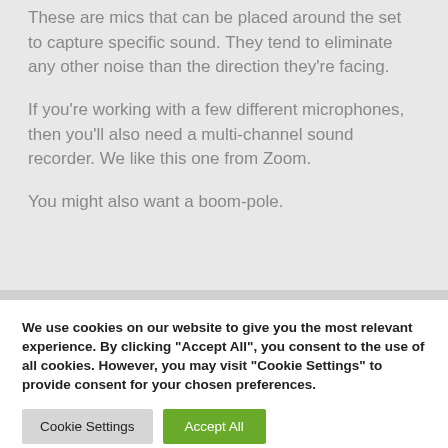These are mics that can be placed around the set to capture specific sound. They tend to eliminate any other noise than the direction they're facing.
If you're working with a few different microphones, then you'll also need a multi-channel sound recorder. We like this one from Zoom.
You might also want a boom-pole.
We use cookies on our website to give you the most relevant experience. By clicking "Accept All", you consent to the use of all cookies. However, you may visit "Cookie Settings" to provide consent for your chosen preferences.